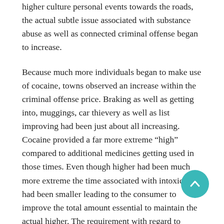higher culture personal events towards the roads, the actual subtle issue associated with substance abuse as well as connected criminal offense began to increase.
Because much more individuals began to make use of cocaine, towns observed an increase within the criminal offense price. Braking as well as getting into, muggings, car thievery as well as list improving had been just about all increasing. Cocaine provided a far more extreme “high” compared to additional medicines getting used in those times. Even though higher had been much more extreme the time associated with intoxication had been smaller leading to the consumer to improve the total amount essential to maintain the actual higher. The requirement with regard to much more cocaine triggered the requirement
[Figure (other): Teal circular scroll-to-top button with an upward chevron arrow icon]